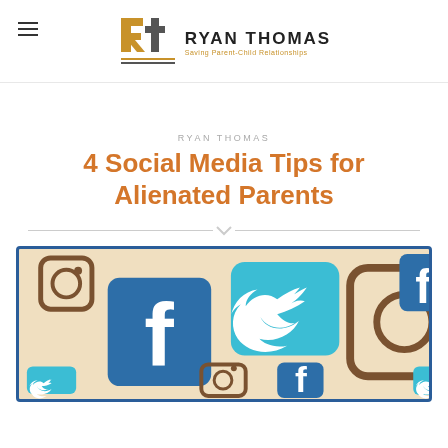RYAN THOMAS — Saving Parent-Child Relationships
RYAN THOMAS
4 Social Media Tips for Alienated Parents
[Figure (illustration): Collage of social media icons including Instagram, Facebook, and Twitter logos on a beige background with a dark blue border]